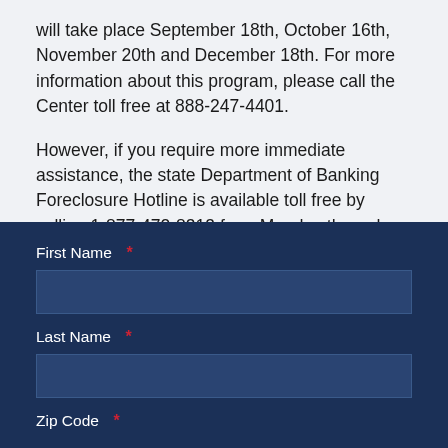will take place September 18th, October 16th, November 20th and December 18th. For more information about this program, please call the Center toll free at 888-247-4401.
However, if you require more immediate assistance, the state Department of Banking Foreclosure Hotline is available toll free by calling 1-877-472-8313 from Monday through Friday between 8:00 a.m. and 5:00 p.m. It is my hope that by publicizing this information we can help keep families in their homes as we continue to push for legislation to help repair the economy.
First Name *
Last Name *
Zip Code *